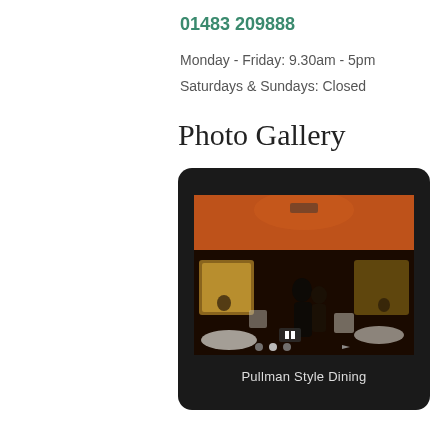01483 209888
Monday - Friday: 9.30am - 5pm
Saturdays & Sundays: Closed
Photo Gallery
[Figure (photo): Photo gallery slideshow widget with a dark rounded frame showing a Pullman Style Dining train car interior photo with people seated, red ceiling, and warm lighting. Caption reads 'Pullman Style Dining'.]
Pullman Style Dining